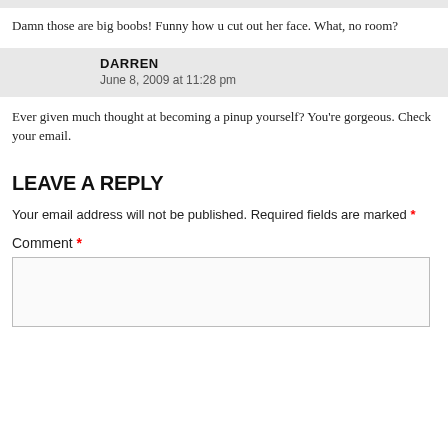Damn those are big boobs! Funny how u cut out her face. What, no room?
DARREN
June 8, 2009 at 11:28 pm
Ever given much thought at becoming a pinup yourself? You're gorgeous. Check your email.
LEAVE A REPLY
Your email address will not be published. Required fields are marked *
Comment *